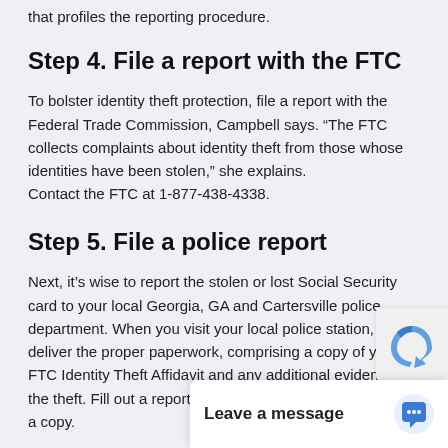that profiles the reporting procedure.
Step 4. File a report with the FTC
To bolster identity theft protection, file a report with the Federal Trade Commission, Campbell says. “The FTC collects complaints about identity theft from those whose identities have been stolen,” she explains.
Contact the FTC at 1-877-438-4338.
Step 5. File a police report
Next, it’s wise to report the stolen or lost Social Security card to your local Georgia, GA and Cartersville police department. When you visit your local police station, deliver the proper paperwork, comprising a copy of your FTC Identity Theft Affidavit and any additional evidence of the theft. Fill out a report about the event and ask the polic… a copy.
Swiftness is key when y…